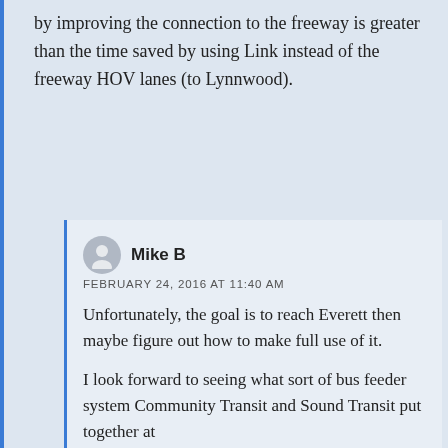by improving the connection to the freeway is greater than the time saved by using Link instead of the freeway HOV lanes (to Lynnwood).
Mike B
FEBRUARY 24, 2016 AT 11:40 AM
Unfortunately, the goal is to reach Everett then maybe figure out how to make full use of it.
I look forward to seeing what sort of bus feeder system Community Transit and Sound Transit put together at